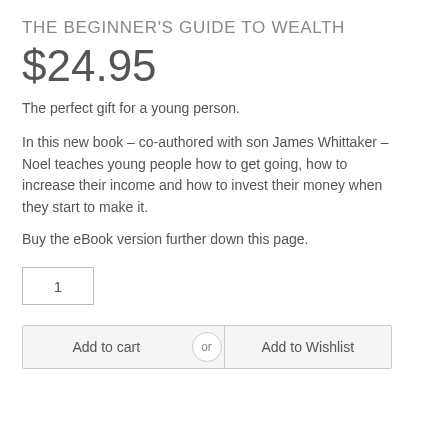THE BEGINNER'S GUIDE TO WEALTH
$24.95
The perfect gift for a young person.
In this new book – co-authored with son James Whittaker – Noel teaches young people how to get going, how to increase their income and how to invest their money when they start to make it.
Buy the eBook version further down this page.